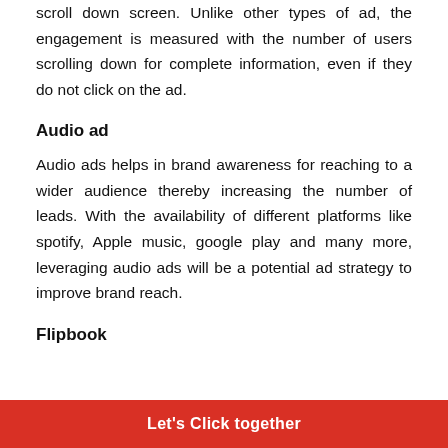scroll down screen. Unlike other types of ad, the engagement is measured with the number of users scrolling down for complete information, even if they do not click on the ad.
Audio ad
Audio ads helps in brand awareness for reaching to a wider audience thereby increasing the number of leads. With the availability of different platforms like spotify, Apple music, google play and many more, leveraging audio ads will be a potential ad strategy to improve brand reach.
Flipbook
Let's Click together